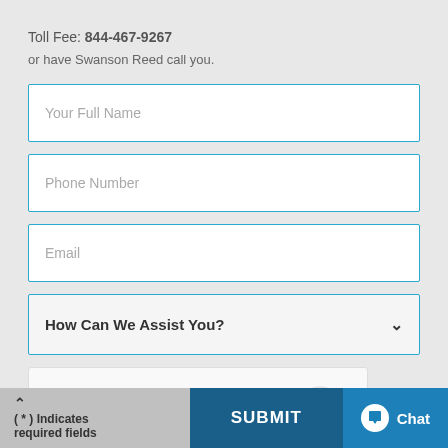Toll Fee: 844-467-9267
or have Swanson Reed call you.
Your Full Name
Phone Number
Email
How Can We Assist You?
[Figure (other): reCAPTCHA widget with checkbox labeled I'm not a robot, reCAPTCHA logo, Privacy and Terms links]
(*) Indicates required fields
SUBMIT
Chat